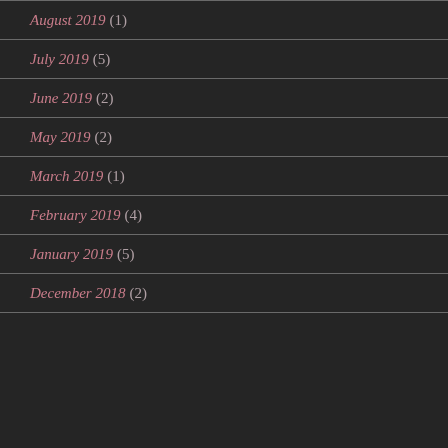August 2019 (1)
July 2019 (5)
June 2019 (2)
May 2019 (2)
March 2019 (1)
February 2019 (4)
January 2019 (5)
December 2018 (2)